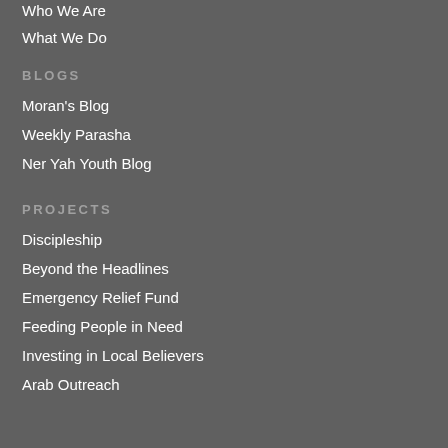Who We Are
What We Do
BLOGS
Moran's Blog
Weekly Parasha
Ner Yah Youth Blog
PROJECTS
Discipleship
Beyond the Headlines
Emergency Relief Fund
Feeding People in Need
Investing in Local Believers
Arab Outreach